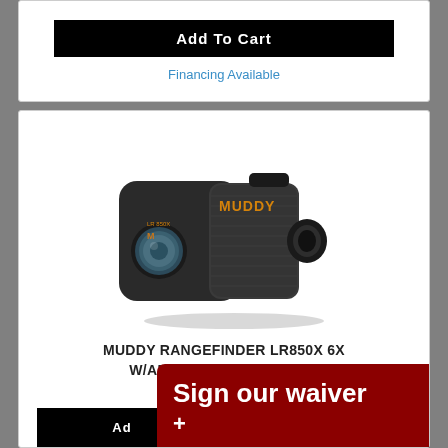Add To Cart
Financing Available
[Figure (photo): Muddy Rangefinder LR850X 6x device — black and grey body with orange MUDDY branding, front lens and eyepiece visible]
MUDDY RANGEFINDER LR850X 6X W/ANGLE COMPENSATION
Walkers Game Ear
Magnification: 6x
$157.99
Add
Sign our waiver +